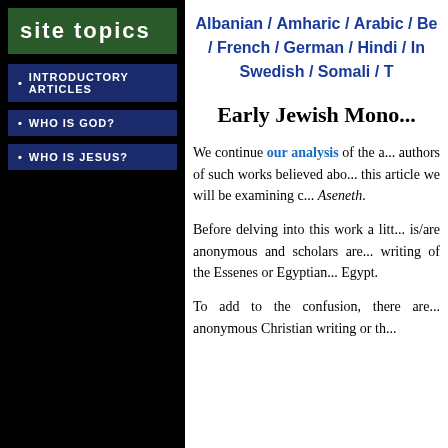site topics
INTRODUCTORY ARTICLES
WHO IS GOD?
WHO IS JESUS?
Albanian / Amharic / Arabic / Be... / French / German / Hindi / In... Swedish / Somali / T...
Early Jewish Mono...
We continue our analysis of the a... authors of such works believed abo... this article we will be examining c... Aseneth.
Before delving into this work a litt... is/are anonymous and scholars are... writing of the Essenes or Egyptian... Egypt.
To add to the confusion, there are... anonymous Christian writing or th...